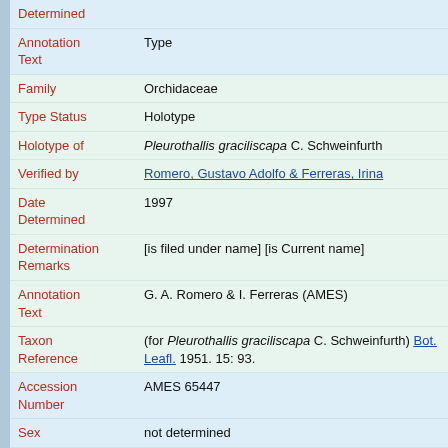| Field | Value |
| --- | --- |
| Determined |  |
| Annotation Text | Type |
| Family | Orchidaceae |
| Type Status | Holotype |
| Holotype of | Pleurothallis graciliscapa C. Schweinfurth |
| Verified by | Romero, Gustavo Adolfo & Ferreras, Irina |
| Date Determined | 1997 |
| Determination Remarks | [is filed under name] [is Current name] |
| Annotation Text | G. A. Romero & I. Ferreras (AMES) |
| Taxon Reference | (for Pleurothallis graciliscapa C. Schweinfurth) Bot. Leafl. 1951. 15: 93. |
| Accession Number | AMES 65447 |
| Sex | not determined |
| Phenology | Flower |
| Preparation Type | Sheet |
| Preparation Method | Pressed |